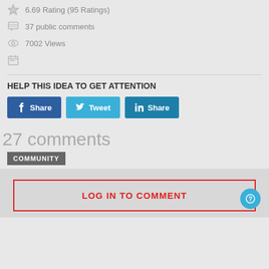6.69 Rating (95 Ratings)
37 public comments
7002 Views
HELP THIS IDEA TO GET ATTENTION
[Figure (other): Three social sharing buttons: Facebook Share (dark blue), Twitter Tweet (light blue), LinkedIn Share (teal blue)]
27 comments
COMMUNITY
LOG IN TO COMMENT